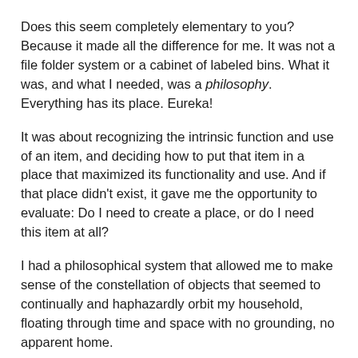Does this seem completely elementary to you? Because it made all the difference for me. It was not a file folder system or a cabinet of labeled bins. What it was, and what I needed, was a philosophy. Everything has its place. Eureka!
It was about recognizing the intrinsic function and use of an item, and deciding how to put that item in a place that maximized its functionality and use. And if that place didn't exist, it gave me the opportunity to evaluate: Do I need to create a place, or do I need this item at all?
I had a philosophical system that allowed me to make sense of the constellation of objects that seemed to continually and haphazardly orbit my household, floating through time and space with no grounding, no apparent home.
Now I know: books go on a bookshelf, magazines I keep in a magazine case or throw away. Office supplies are sorted and stored separately, on an office shelf or desk. Every single thing in my house has a place, and if not, its place is in the recycling bin, the donation pile or the trash.